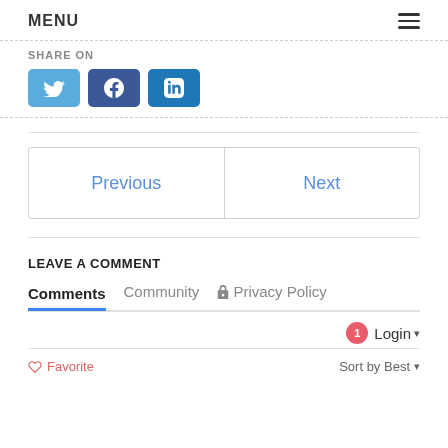MENU
SHARE ON
[Figure (illustration): Three social media share buttons: Twitter (light blue), Facebook (dark blue), LinkedIn (medium blue)]
| Previous | Next |
| --- | --- |
LEAVE A COMMENT
Comments  Community  Privacy Policy
1  Login
Favorite  Sort by Best